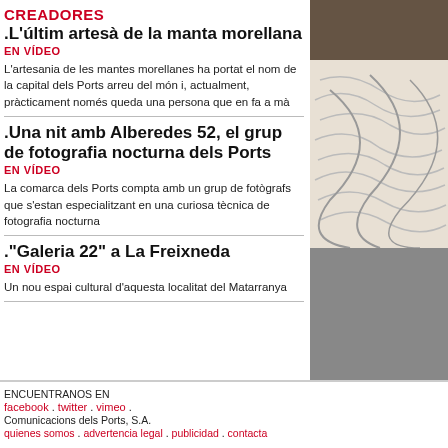CREADORES
.L'últim artesà de la manta morellana
EN VÍDEO
L'artesania de les mantes morellanes ha portat el nom de la capital dels Ports arreu del món i, actualment, pràcticament només queda una persona que en fa a mà
[Figure (photo): Photo of manta morellana textile with decorative curved line pattern on light fabric]
.Una nit amb Alberedes 52, el grup de fotografia nocturna dels Ports
EN VÍDEO
La comarca dels Ports compta amb un grup de fotògrafs que s'estan especialitzant en una curiosa tècnica de fotografia nocturna
."Galeria 22" a La Freixneda
EN VÍDEO
Un nou espai cultural d'aquesta localitat del Matarranya
ENCUENTRANOS EN
facebook . twitter . vimeo .
Comunicacions dels Ports, S.A.
quienes somos . advertencia legal . publicidad . contacta